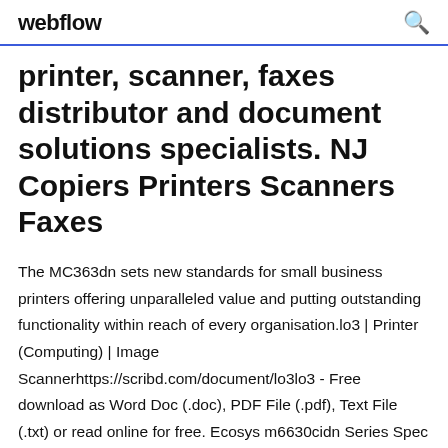webflow
printer, scanner, faxes distributor and document solutions specialists. NJ Copiers Printers Scanners Faxes
The MC363dn sets new standards for small business printers offering unparalleled value and putting outstanding functionality within reach of every organisation.lo3 | Printer (Computing) | Image Scannerhttps://scribd.com/document/lo3lo3 - Free download as Word Doc (.doc), PDF File (.pdf), Text File (.txt) or read online for free. Ecosys m6630cidn Series Spec Sheet - Free download as PDF File (.pdf), Text File (.txt) or